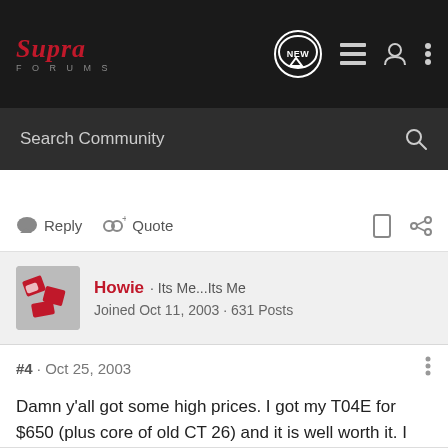Supra Forums
Search Community
Reply   Quote
Howie · Its Me...Its Me
Joined Oct 11, 2003 · 631 Posts
#4 · Oct 25, 2003
Damn y'all got some high prices. I got my T04E for $650 (plus core of old CT 26) and it is well worth it. I don't know HPs yet, but you can feel the difference for real.